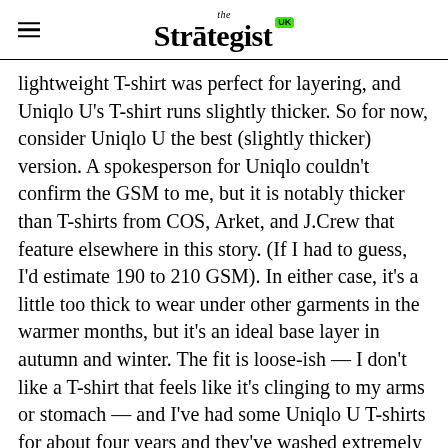the Strategist UK
lightweight T-shirt was perfect for layering, and Uniqlo U's T-shirt runs slightly thicker. So for now, consider Uniqlo U the best (slightly thicker) version. A spokesperson for Uniqlo couldn't confirm the GSM to me, but it is notably thicker than T-shirts from COS, Arket, and J.Crew that feature elsewhere in this story. (If I had to guess, I'd estimate 190 to 210 GSM). In either case, it's a little too thick to wear under other garments in the warmer months, but it's an ideal base layer in autumn and winter. The fit is loose-ish — I don't like a T-shirt that feels like it's clinging to my arms or stomach — and I've had some Uniqlo U T-shirts for about four years and they've washed extremely well (this is likely due to the thicker weight).